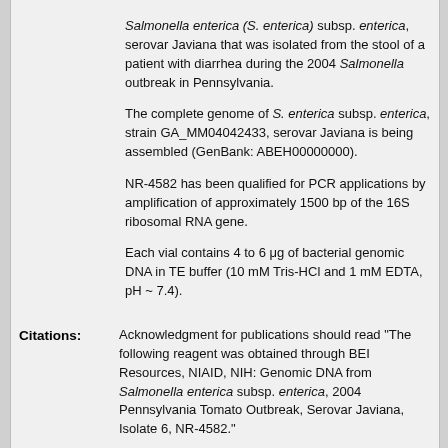Salmonella enterica (S. enterica) subsp. enterica, serovar Javiana that was isolated from the stool of a patient with diarrhea during the 2004 Salmonella outbreak in Pennsylvania.
The complete genome of S. enterica subsp. enterica, strain GA_MM04042433, serovar Javiana is being assembled (GenBank: ABEH00000000).
NR-4582 has been qualified for PCR applications by amplification of approximately 1500 bp of the 16S ribosomal RNA gene.
Each vial contains 4 to 6 μg of bacterial genomic DNA in TE buffer (10 mM Tris-HCl and 1 mM EDTA, pH ~ 7.4).
Citations: Acknowledgment for publications should read "The following reagent was obtained through BEI Resources, NIAID, NIH: Genomic DNA from Salmonella enterica subsp. enterica, 2004 Pennsylvania Tomato Outbreak, Serovar Javiana, Isolate 6, NR-4582."
ATTACHMENTS
Product Information Sheet
Certificate of Analysis by Lot